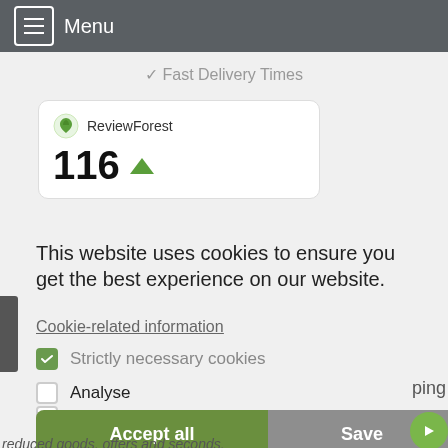Menu
✓ Fast Delivery Times
ReviewForest
116
This website uses cookies to ensure you get the best experience on our website.
Cookie-related information
Strictly necessary cookies
Analyse
Marketing
Accept all
Save
reduced goods, offers and seconds.